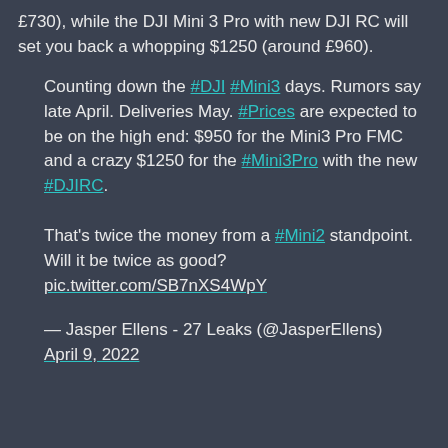£730), while the DJI Mini 3 Pro with new DJI RC will set you back a whopping $1250 (around £960).
Counting down the #DJI #Mini3 days. Rumors say late April. Deliveries May. #Prices are expected to be on the high end: $950 for the Mini3 Pro FMC and a crazy $1250 for the #Mini3Pro with the new #DJIRC.
That's twice the money from a #Mini2 standpoint. Will it be twice as good? pic.twitter.com/SB7nXS4WpY
— Jasper Ellens - 27 Leaks (@JasperEllens) April 9, 2022